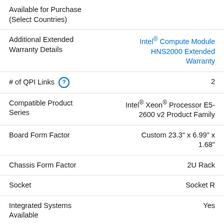Available for Purchase (Select Countries)
Additional Extended Warranty Details | Intel® Compute Module HNS2000 Extended Warranty
# of QPI Links | 2
Compatible Product Series | Intel® Xeon® Processor E5-2600 v2 Product Family
Board Form Factor | Custom 23.3" x 6.99" x 1.68"
Chassis Form Factor | 2U Rack
Socket | Socket R
Integrated Systems Available | Yes